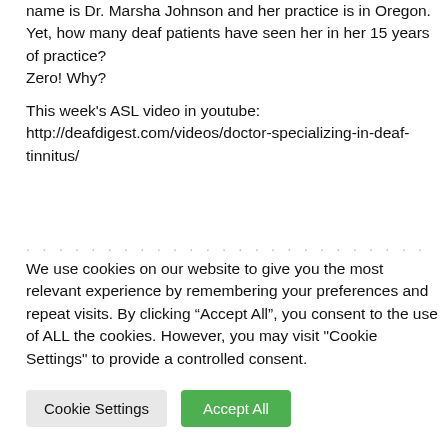name is Dr. Marsha Johnson and her practice is in Oregon.
Yet, how many deaf patients have seen her in her 15 years of practice?
Zero! Why?

This week's ASL video in youtube:
http://deafdigest.com/videos/doctor-specializing-in-deaf-tinnitus/
We use cookies on our website to give you the most relevant experience by remembering your preferences and repeat visits. By clicking “Accept All”, you consent to the use of ALL the cookies. However, you may visit "Cookie Settings" to provide a controlled consent.